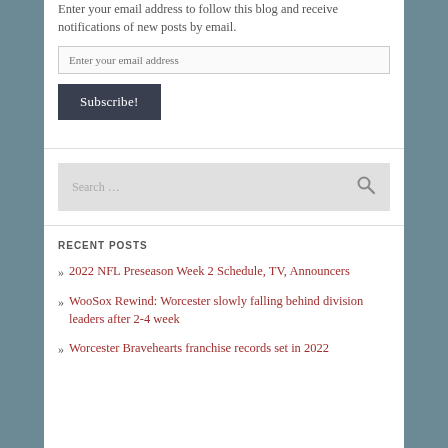Enter your email address to follow this blog and receive notifications of new posts by email.
Enter your email address
Subscribe!
[Figure (other): Search input box with search icon]
RECENT POSTS
2022 NFL Preseason Week 2 Schedule, TV, Announcers
WooSox Rewind: Worcester slowly falling behind division leaders after 2-4 week
Worcester Bravehearts franchise records set in 2022